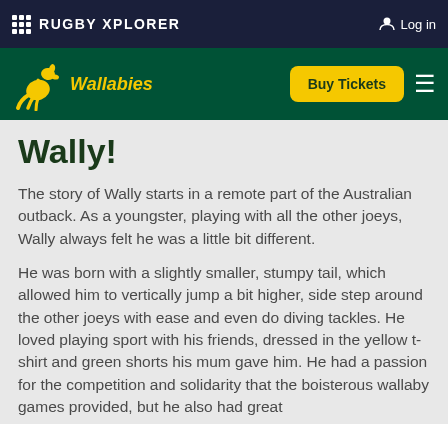RUGBY XPLORER  Log in
[Figure (logo): Wallabies logo with kangaroo illustration and Buy Tickets button on green navigation bar]
Wally!
The story of Wally starts in a remote part of the Australian outback. As a youngster, playing with all the other joeys, Wally always felt he was a little bit different.
He was born with a slightly smaller, stumpy tail, which allowed him to vertically jump a bit higher, side step around the other joeys with ease and even do diving tackles. He loved playing sport with his friends, dressed in the yellow t-shirt and green shorts his mum gave him. He had a passion for the competition and solidarity that the boisterous wallaby games provided, but he also had great